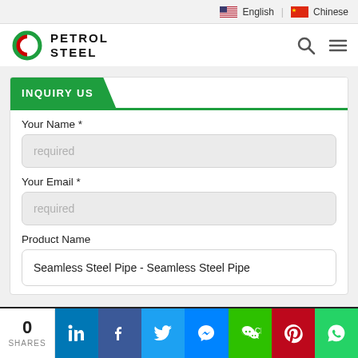English | Chinese
[Figure (logo): Petrol Steel logo with circular icon and bold text]
INQUIRY US
Your Name *
required
Your Email *
required
Product Name
Seamless Steel Pipe - Seamless Steel Pipe
0 SHARES | LinkedIn | Facebook | Twitter | Messenger | WeChat | Pinterest | WhatsApp